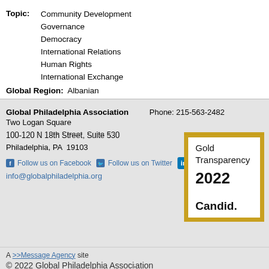Topic: Community Development
Governance
Democracy
International Relations
Human Rights
International Exchange
Global Region: Albanian
Global Philadelphia Association
Two Logan Square
100-120 N 18th Street, Suite 530
Philadelphia, PA 19103
Phone: 215-563-2482
Follow us on Facebook  Follow us on Twitter
info@globalphiladelphia.org
[Figure (other): Gold Transparency 2022 Candid. badge]
A >>Message Agency site
© 2022 Global Philadelphia Association